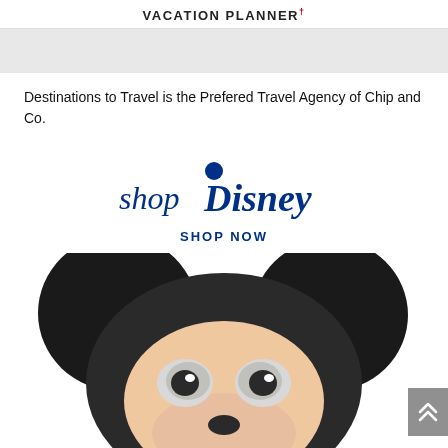VACATION PLANNER†
[Figure (other): Gray banner/hero image area]
Destinations to Travel is the Prefered Travel Agency of Chip and Co.
[Figure (logo): Shop Disney logo with SHOP NOW text and Mickey Mouse plush toy image]
[Figure (photo): Mickey Mouse plush toy peeking up from bottom of frame showing large black ears and face]